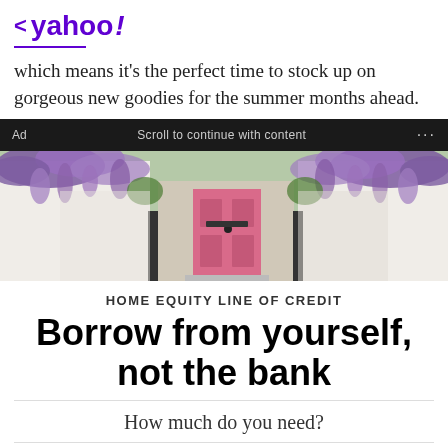< yahoo!
which means it's the perfect time to stock up on gorgeous new goodies for the summer months ahead.
[Figure (screenshot): Ad bar with text: Ad | Scroll to continue with content | ...]
[Figure (photo): Photo of a house with a pink front door surrounded by purple wisteria flowers and white pillars]
HOME EQUITY LINE OF CREDIT
Borrow from yourself, not the bank
How much do you need?